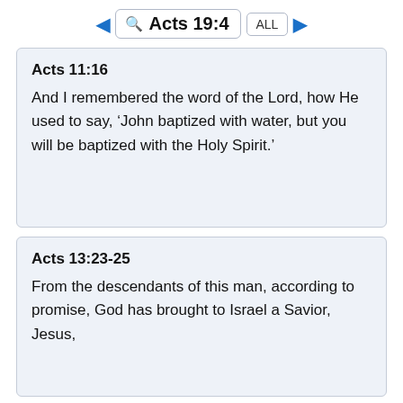Acts 19:4
Acts 11:16
And I remembered the word of the Lord, how He used to say, ‘John baptized with water, but you will be baptized with the Holy Spirit.’
Acts 13:23-25
From the descendants of this man, according to promise, God has brought to Israel a Savior, Jesus,